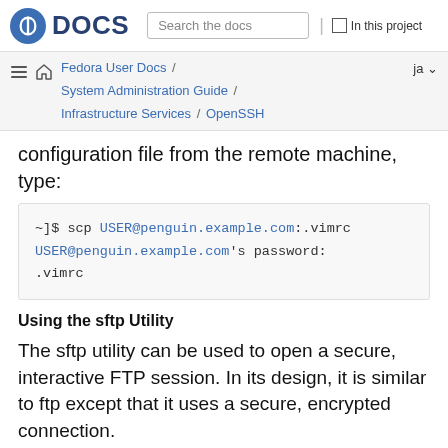Fedora DOCS — Search the docs — In this project
Fedora User Docs / System Administration Guide / Infrastructure Services / OpenSSH — ja
configuration file from the remote machine, type:
~]$ scp USER@penguin.example.com:.vimrc
USER@penguin.example.com's password:
.vimrc
Using the sftp Utility
The sftp utility can be used to open a secure, interactive FTP session. In its design, it is similar to ftp except that it uses a secure, encrypted connection.
To connect to a remote system, use a command in